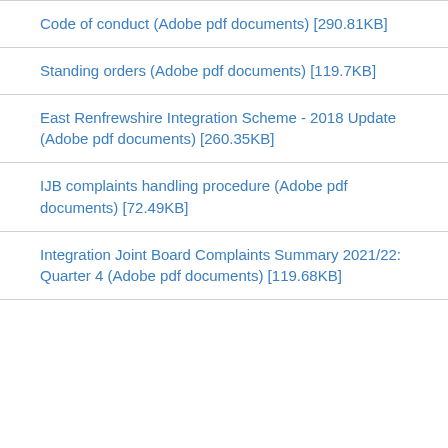Code of conduct (Adobe pdf documents) [290.81KB]
Standing orders (Adobe pdf documents) [119.7KB]
East Renfrewshire Integration Scheme - 2018 Update (Adobe pdf documents) [260.35KB]
IJB complaints handling procedure (Adobe pdf documents) [72.49KB]
Integration Joint Board Complaints Summary 2021/22: Quarter 4 (Adobe pdf documents) [119.68KB]